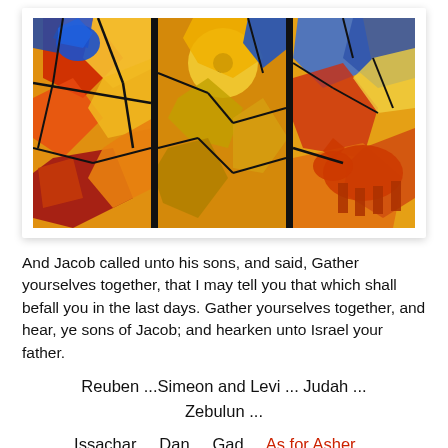[Figure (illustration): Stained glass artwork depicting colorful abstract figures and animals in panels with bold black leading lines, featuring vibrant yellows, reds, blues and oranges — appears to be Chagall-style tribal or biblical imagery.]
And Jacob called unto his sons, and said, Gather yourselves together, that I may tell you that which shall befall you in the last days. Gather yourselves together, and hear, ye sons of Jacob; and hearken unto Israel your father.
Reuben ...Simeon and Levi ... Judah ... Zebulun ...
Issachar ... Dan ... Gad ... As for Asher ...
Naphtali ... Joseph ... Benjamin.
All these are the twelve tribes of Israel: and this